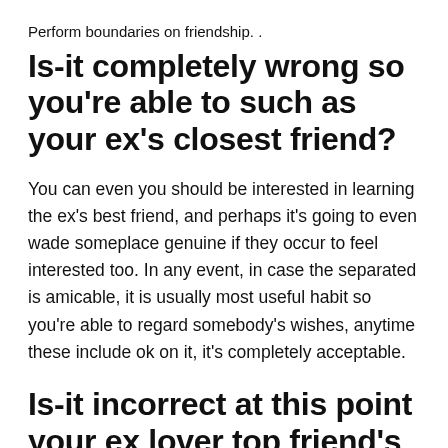Perform boundaries on friendship. .
Is-it completely wrong so you're able to such as your ex's closest friend?
You can even you should be interested in learning the ex's best friend, and perhaps it's going to even wade someplace genuine if they occur to feel interested too. In any event, in case the separated is amicable, it is usually most useful habit so you're able to regard somebody's wishes, anytime these include ok on it, it's completely acceptable.
Is-it incorrect at this point your ex lover top friend's old boyfriend?
Anytime it's a messy break up, you shouldn't day